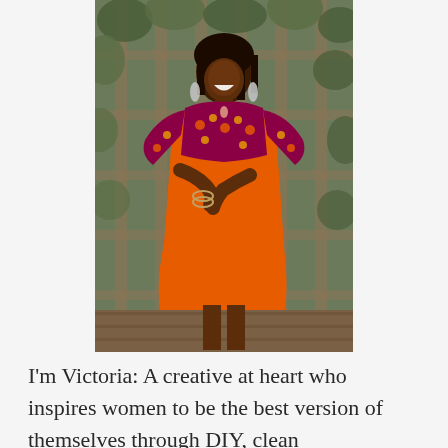[Figure (photo): A smiling Black woman wearing an orange floral dress with puffed sleeves, standing in front of a green ivy-covered wooden lattice structure. She has long braided hair and is wearing dangling earrings and gold bangles.]
I'm Victoria: A creative at heart who inspires women to be the best version of themselves through DIY, clean